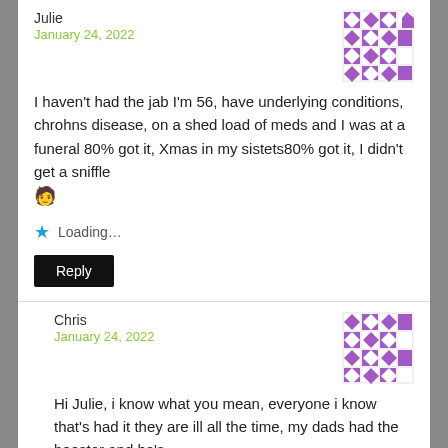Julie
January 24, 2022
I haven't had the jab I'm 56, have underlying conditions, chrohns disease, on a shed load of meds and I was at a funeral 80% got it, Xmas in my sistets80% got it, I didn't get a sniffle 🧑
Loading...
Reply
Chris
January 24, 2022
Hi Julie, i know what you mean, everyone i know that's had it they are ill all the time, my dads had the booster and he's